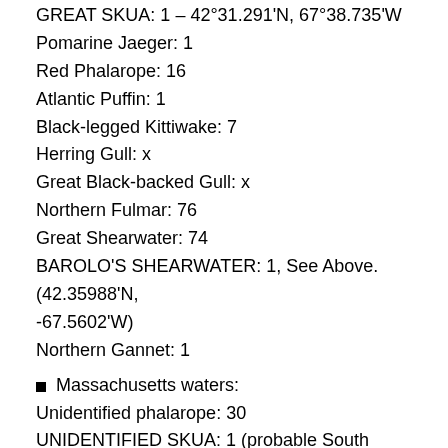GREAT SKUA: 1 – 42°31.291'N, 67°38.735'W
Pomarine Jaeger: 1
Red Phalarope: 16
Atlantic Puffin: 1
Black-legged Kittiwake: 7
Herring Gull: x
Great Black-backed Gull: x
Northern Fulmar: 76
Great Shearwater: 74
BAROLO'S SHEARWATER: 1, See Above. (42.35988'N, -67.5602'W)
Northern Gannet: 1
Massachusetts waters:
Unidentified phalarope: 30
UNIDENTIFIED SKUA: 1 (probable South Polar)
Pomarine Jaeger: 3